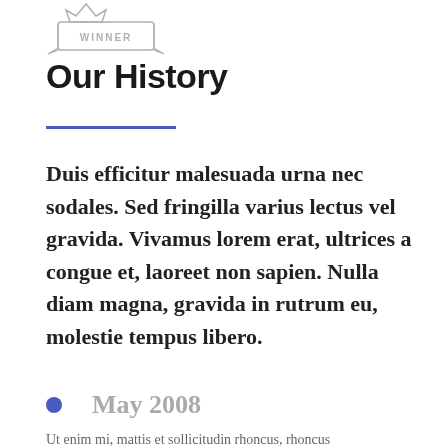[Figure (logo): Award badge/ribbon with 'WINNER' text]
Our History
Duis efficitur malesuada urna nec sodales. Sed fringilla varius lectus vel gravida. Vivamus lorem erat, ultrices a congue et, laoreet non sapien. Nulla diam magna, gravida in rutrum eu, molestie tempus libero.
May 2008
Ut enim mi, mattis et sollicitudin rhoncus, rhoncus